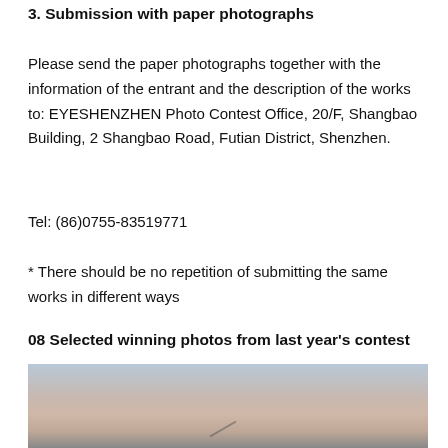3. Submission with paper photographs
Please send the paper photographs together with the information of the entrant and the description of the works to: EYESHENZHEN Photo Contest Office, 20/F, Shangbao Building, 2 Shangbao Road, Futian District, Shenzhen.
Tel: (86)0755-83519771
* There should be no repetition of submitting the same works in different ways
08 Selected winning photos from last year's contest
[Figure (photo): A photograph with a hazy sky and subtle diagonal line, likely showing a landscape or aerial scene with muted pink and grey tones.]